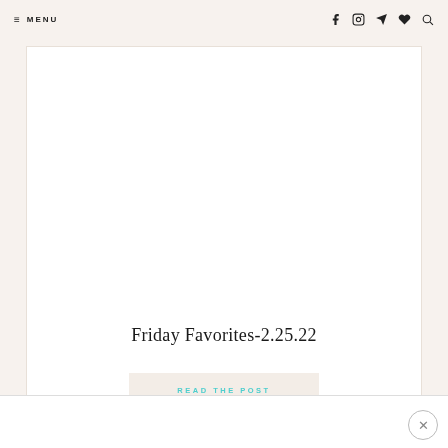≡ MENU
[Figure (illustration): White card/article preview block with a large empty white image area at the top, containing no visible image content.]
Friday Favorites-2.25.22
READ THE POST